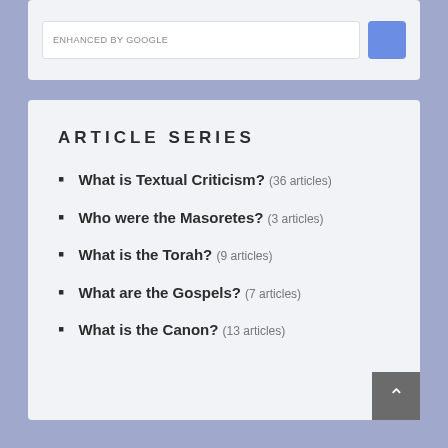[Figure (screenshot): Top portion of a search widget with 'ENHANCED BY Google' text and a blue search button, on a light gray card background]
ARTICLE SERIES
What is Textual Criticism? (36 articles)
Who were the Masoretes? (3 articles)
What is the Torah? (9 articles)
What are the Gospels? (7 articles)
What is the Canon? (13 articles)